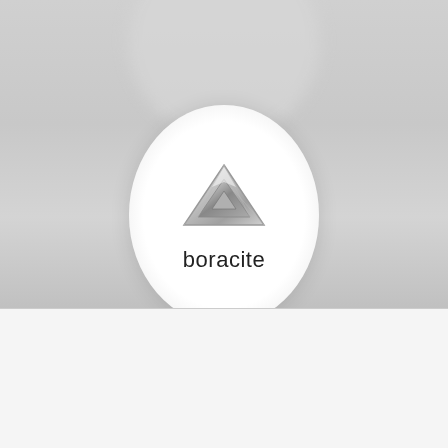[Figure (photo): A triangular boracite gemstone/crystal displayed on a white oval background, with gray blurred circles in the background. The stone appears clear/silvery with facets.]
boracite
[Figure (logo): Voillot Joaillier Paris logo with a V mark]
Pour commander un bijou
To order a jewel
Pour commander une pierre précieuse
To order a gemstone
[Figure (logo): MAXIME VOILLOT GEMS logo with V mark]